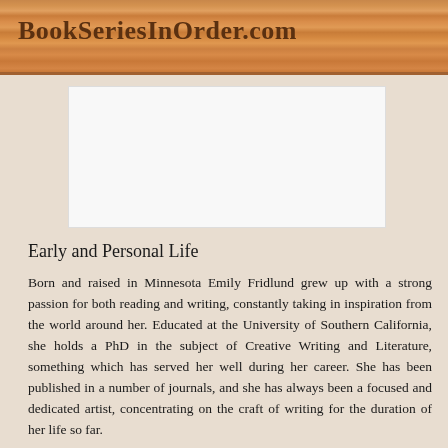BookSeriesInOrder.com
[Figure (other): Advertisement placeholder box]
Early and Personal Life
Born and raised in Minnesota Emily Fridlund grew up with a strong passion for both reading and writing, constantly taking in inspiration from the world around her. Educated at the University of Southern California, she holds a PhD in the subject of Creative Writing and Literature, something which has served her well during her career. She has been published in a number of journals, and she has always been a focused and dedicated artist, concentrating on the craft of writing for the duration of her life so far.
Throughout her working career prior to becoming a writer she always knew what she wanted to be, as she constantly had her eyes set on the end goal. Whether it be short or long stories, she always managed to tell the